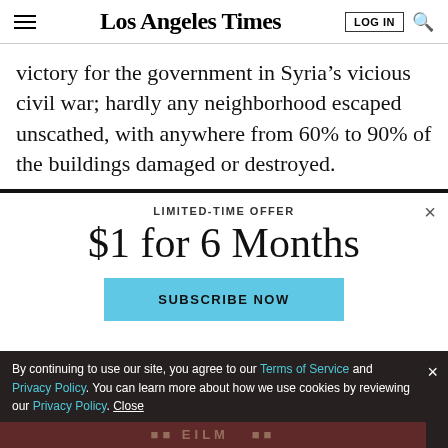Los Angeles Times
victory for the government in Syria’s vicious civil war; hardly any neighborhood escaped unscathed, with anywhere from 60% to 90% of the buildings damaged or destroyed.
LIMITED-TIME OFFER
$1 for 6 Months
SUBSCRIBE NOW
By continuing to use our site, you agree to our Terms of Service and Privacy Policy. You can learn more about how we use cookies by reviewing our Privacy Policy. Close